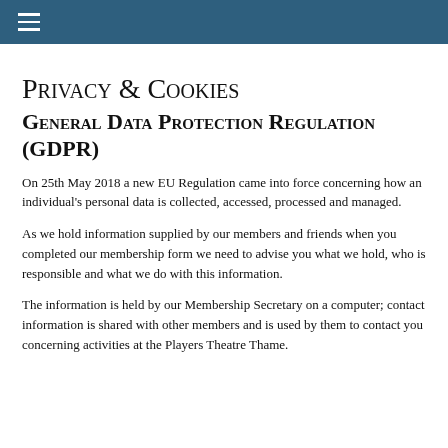≡
Privacy & Cookies
General Data Protection Regulation (GDPR)
On 25th May 2018 a new EU Regulation came into force concerning how an individual's personal data is collected, accessed, processed and managed.
As we hold information supplied by our members and friends when you completed our membership form we need to advise you what we hold, who is responsible and what we do with this information.
The information is held by our Membership Secretary on a computer; contact information is shared with other members and is used by them to contact you concerning activities at the Players Theatre Thame.